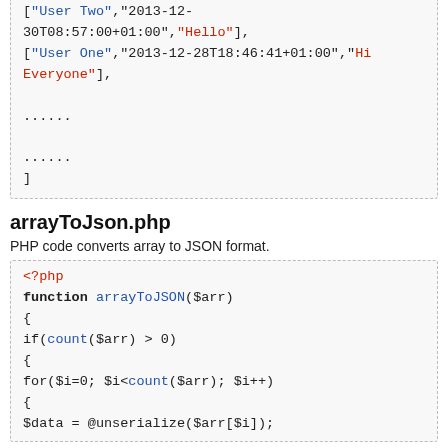[Figure (screenshot): Code block showing JSON array output continuation: ["User Two","2013-12-30T08:57:00+01:00","Hello"], ["User One","2013-12-28T18:46:41+01:00","Hi Everyone"], ...... ...... ]]
arrayToJson.php
PHP code converts array to JSON format.
[Figure (screenshot): PHP code block showing arrayToJSON function definition with <?php, function arrayToJSON($arr), {, if(count($arr) > 0), {, for($i=0; $i<count($arr); $i++), {, $data = @unserialize($arr[$i]);]